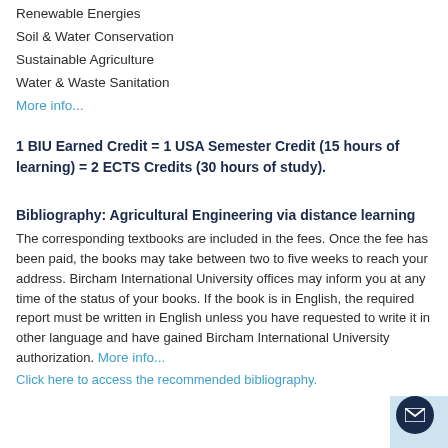Renewable Energies
Soil & Water Conservation
Sustainable Agriculture
Water & Waste Sanitation
More info...
1 BIU Earned Credit = 1 USA Semester Credit (15 hours of learning) = 2 ECTS Credits (30 hours of study).
Bibliography: Agricultural Engineering via distance learning
The corresponding textbooks are included in the fees. Once the fee has been paid, the books may take between two to five weeks to reach your address. Bircham International University offices may inform you at any time of the status of your books. If the book is in English, the required report must be written in English unless you have requested to write it in other language and have gained Bircham International University authorization. More info...
Click here to access the recommended bibliography.